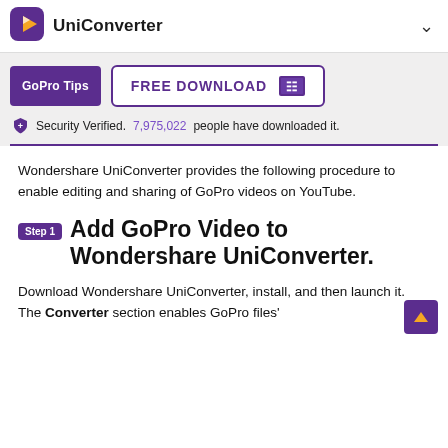UniConverter
[Figure (logo): UniConverter app logo with purple background and play button icon]
FREE DOWNLOAD
GoPro Tips
Security Verified. 7,975,022 people have downloaded it.
Wondershare UniConverter provides the following procedure to enable editing and sharing of GoPro videos on YouTube.
Step 1  Add GoPro Video to Wondershare UniConverter.
Download Wondershare UniConverter, install, and then launch it. The Converter section enables GoPro files'